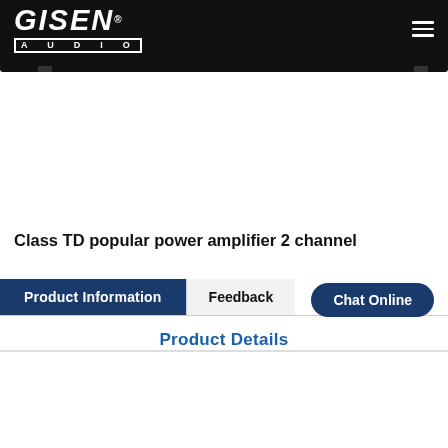GISEN AUDIO
[Figure (photo): Audio power amplifier device shown partially at top of page below navigation header]
Class TD popular power amplifier 2 channel
Product Information | Feedback | Chat Online
Product Details